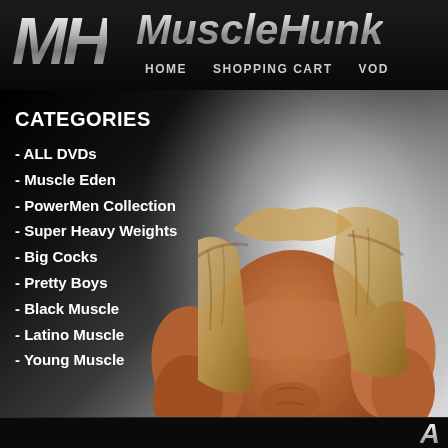MH MuscleHunks — HOME  SHOPPING CART  VOD
CATEGORIES
- ALL DVDs
- Muscle Eden
- PowerMen Collection
- Super Heavy Weights
- Big Cocks
- Pretty Boys
- Black Muscle
- Latino Muscle
- Young Muscle
[Figure (photo): Muscular male bodybuilder figure, bare-chested, wearing beige/khaki jacket draped over shoulders, showing defined muscles, photographed against gradient light background]